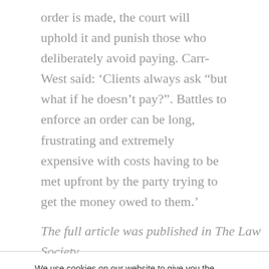order is made, the court will uphold it and punish those who deliberately avoid paying. Carr-West said: ‘Clients always ask “but what if he doesn’t pay?”. Battles to enforce an order can be long, frustrating and extremely expensive with costs having to be met upfront by the party trying to get the money owed to them.’
The full article was published in The Law Society
We use cookies on our website to give you the most relevant experience by remembering your preferences and visits. By clicking “Accept”, you consent to the use of all the cookies or you can set your cookie preferences by clicking on "cookie settings"
Cookie settings
ACCEPT